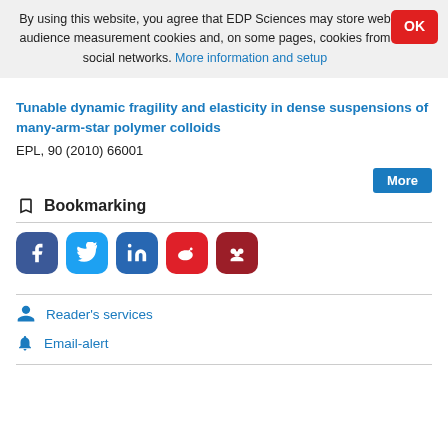By using this website, you agree that EDP Sciences may store web audience measurement cookies and, on some pages, cookies from social networks. More information and setup
Tunable dynamic fragility and elasticity in dense suspensions of many-arm-star polymer colloids
EPL, 90 (2010) 66001
Bookmarking
[Figure (other): Social sharing icons: Facebook, Twitter, LinkedIn, Weibo, Mendeley]
Reader's services
Email-alert